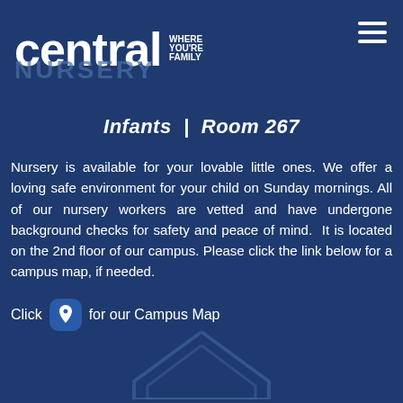[Figure (logo): Central church logo with tagline 'WHERE YOU'RE FAMILY' and 'NURSERY' text in background]
Infants | Room 267
Nursery is available for your lovable little ones. We offer a loving safe environment for your child on Sunday mornings. All of our nursery workers are vetted and have undergone background checks for safety and peace of mind.  It is located on the 2nd floor of our campus. Please click the link below for a campus map, if needed.
Click [location icon] for our Campus Map